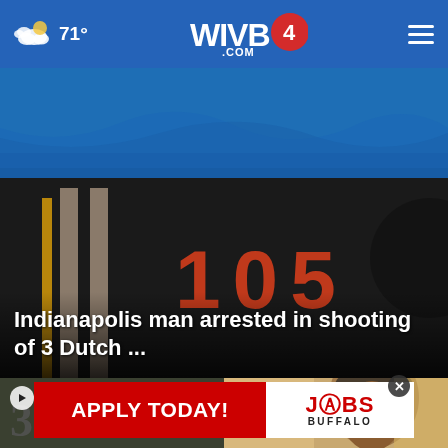71° WIVB4.COM
[Figure (photo): Building entrance with blue tarp/awning overhead and number 105 on dark facade]
Indianapolis man arrested in shooting of 3 Dutch ...
[Figure (screenshot): Thumbnail of video with numbers, play button overlay]
[Figure (photo): Thumbnail of person's face]
[Figure (other): Advertisement banner: APPLY TODAY! JOBS4 BUFFALO]